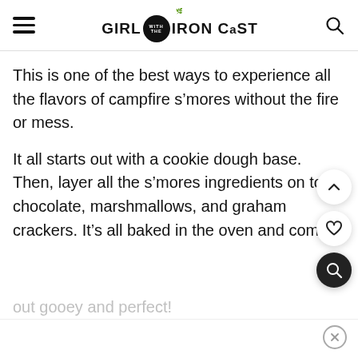GIRL WITH THE IRON CAST
This is one of the best ways to experience all the flavors of campfire s’mores without the fire or mess.
It all starts out with a cookie dough base. Then, layer all the s’mores ingredients on top – chocolate, marshmallows, and graham crackers. It’s all baked in the oven and comes out gooey and perfect!